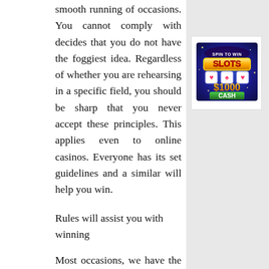smooth running of occasions. You cannot comply with decides that you do not have the foggiest idea. Regardless of whether you are rehearsing in a specific field, you should be sharp that you never accept these principles. This applies even to online casinos. Everyone has its set guidelines and a similar will help you win.
[Figure (illustration): Advertisement image for 'Spin to Win Slots' showing slot machine graphics with '$1000 CASH' text on a colorful background]
Rules will assist you with winning
Most occasions, we have the propensity for envisioning that rules are intended to deny us some blessing. This is exceptionally off-base. Every one of the standards set normally